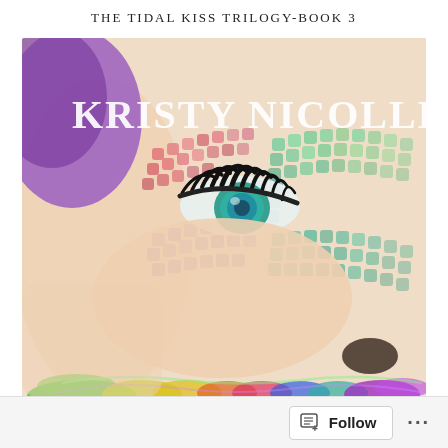THE TIDAL KISS TRILOGY-BOOK 3
[Figure (illustration): Book cover for The Tidal Kiss Trilogy Book 3 by Kristy Nicolle. Close-up of a woman's face with a colorful scale/fishnet pattern eye makeup in rainbow colors (purple, red, pink, green, teal, blue). Author name 'Kristy Nicolle' in white serif text at top. Bottom edge shows colorful water splash in green, yellow, rainbow, and purple. Dark lips visible at bottom right.]
Follow ...